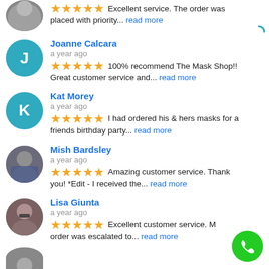Excellent service. The order was placed with priority... read more
Joanne Calcara
a year ago
100% recommend The Mask Shop!! Great customer service and... read more
Kat Morey
a year ago
I had ordered his & hers masks for a friends birthday party... read more
Mish Bardsley
a year ago
Amazing customer service. Thank you! *Edit - I received the... read more
Lisa Giunta
a year ago
Excellent customer service. My order was escalated to... read more